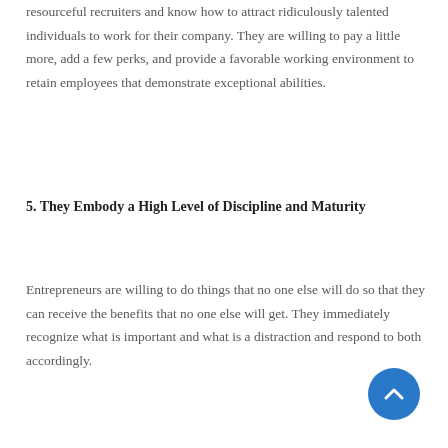resourceful recruiters and know how to attract ridiculously talented individuals to work for their company. They are willing to pay a little more, add a few perks, and provide a favorable working environment to retain employees that demonstrate exceptional abilities.
5. They Embody a High Level of Discipline and Maturity
Entrepreneurs are willing to do things that no one else will do so that they can receive the benefits that no one else will get. They immediately recognize what is important and what is a distraction and respond to both accordingly.